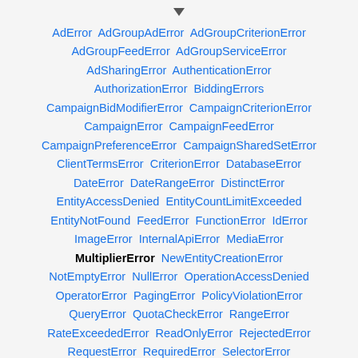[Figure (other): Small downward-pointing arrow/cursor icon at the top center]
AdError AdGroupAdError AdGroupCriterionError AdGroupFeedError AdGroupServiceError AdSharingError AuthenticationError AuthorizationError BiddingErrors CampaignBidModifierError CampaignCriterionError CampaignError CampaignFeedError CampaignPreferenceError CampaignSharedSetError ClientTermsError CriterionError DatabaseError DateError DateRangeError DistinctError EntityAccessDenied EntityCountLimitExceeded EntityNotFound FeedError FunctionError IdError ImageError InternalApiError MediaError MultiplierError NewEntityCreationError NotEmptyError NullError OperationAccessDenied OperatorError PagingError PolicyViolationError QueryError QuotaCheckError RangeError RateExceededError ReadOnlyError RejectedError RequestError RequiredError SelectorError